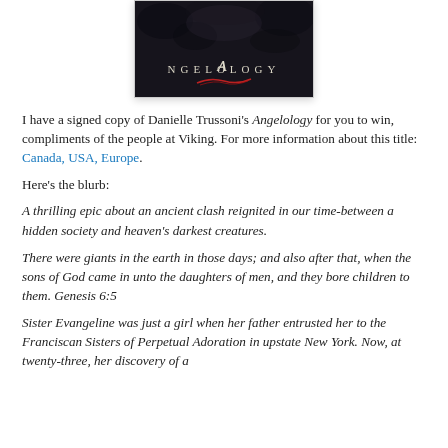[Figure (photo): Book cover of Angelology by Danielle Trussoni, dark background with the title ANGELOLOGY in serif font and a red decorative swirl beneath it.]
I have a signed copy of Danielle Trussoni's Angelology for you to win, compliments of the people at Viking. For more information about this title: Canada, USA, Europe.
Here's the blurb:
A thrilling epic about an ancient clash reignited in our time-between a hidden society and heaven's darkest creatures.
There were giants in the earth in those days; and also after that, when the sons of God came in unto the daughters of men, and they bore children to them. Genesis 6:5
Sister Evangeline was just a girl when her father entrusted her to the Franciscan Sisters of Perpetual Adoration in upstate New York. Now, at twenty-three, her discovery of a